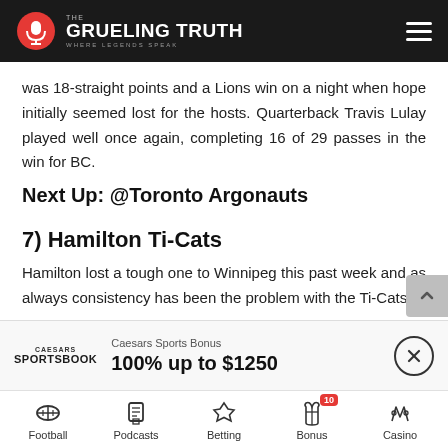The Grueling Truth — Where Legends Speak
was 18-straight points and a Lions win on a night when hope initially seemed lost for the hosts. Quarterback Travis Lulay played well once again, completing 16 of 29 passes in the win for BC.
Next Up: @Toronto Argonauts
7) Hamilton Ti-Cats
Hamilton lost a tough one to Winnipeg this past week and as always consistency has been the problem with the Ti-Cats.
Next Up: Bye Week
[Figure (infographic): Caesars Sportsbook ad banner: 100% up to $1250 sports bonus with close button]
Football | Podcasts | Betting | Bonus 10 | Casino